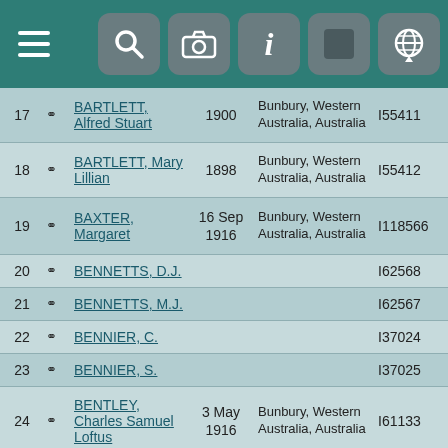[Figure (screenshot): Mobile app toolbar with teal background, hamburger menu on left, and 5 icon buttons (search, camera, info, gray square, globe/chat) on right]
| # |  | Name | Year | Place | ID |
| --- | --- | --- | --- | --- | --- |
| 17 | ⚭ | BARTLETT, Alfred Stuart | 1900 | Bunbury, Western Australia, Australia | I55411 |
| 18 | ⚭ | BARTLETT, Mary Lillian | 1898 | Bunbury, Western Australia, Australia | I55412 |
| 19 | ⚭ | BAXTER, Margaret | 16 Sep 1916 | Bunbury, Western Australia, Australia | I118566 |
| 20 | ⚭ | BENNETTS, D.J. |  |  | I62568 |
| 21 | ⚭ | BENNETTS, M.J. |  |  | I62567 |
| 22 | ⚭ | BENNIER, C. |  |  | I37024 |
| 23 | ⚭ | BENNIER, S. |  |  | I37025 |
| 24 | ⚭ | BENTLEY, Charles Samuel Loftus | 3 May 1916 | Bunbury, Western Australia, Australia | I61133 |
| 25 | ⚭ | BENTLEY, Edward Loftus | 1895 | Bunbury, Western Australia, Australia | I61121 |